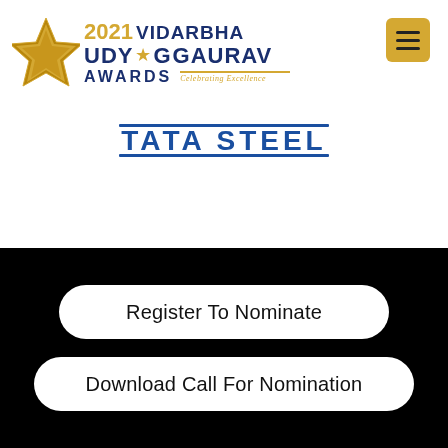[Figure (logo): 2021 Vidarbha Udy★g Gaurav Awards logo with gold star and navy blue text, Celebrating Excellence tagline]
[Figure (logo): TATA STEEL logo in blue block letters with horizontal lines]
[Figure (other): Hamburger menu button (three horizontal lines) on gold/yellow square background, top right corner]
Register To Nominate
Download Call For Nomination